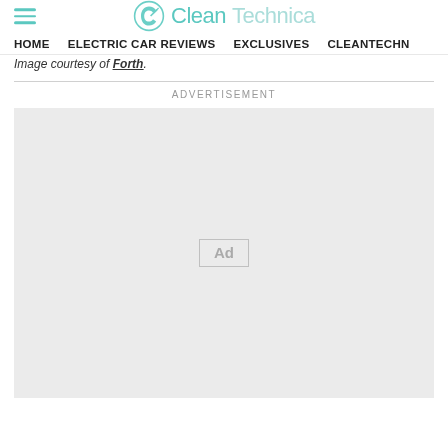CleanTechnica
HOME   ELECTRIC CAR REVIEWS   EXCLUSIVES   CLEANTECHN
Image courtesy of Forth.
ADVERTISEMENT
[Figure (other): Advertisement placeholder box with 'Ad' label in center]